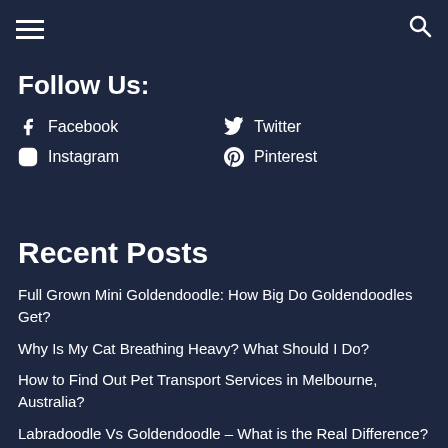☰ [hamburger menu] [search icon]
Follow Us:
f  Facebook
🐦  Twitter
⊙  Instagram
⊕  Pinterest
Recent Posts
Full Grown Mini Goldendoodle: How Big Do Goldendoodles Get?
Why Is My Cat Breathing Heavy? What Should I Do?
How to Find Out Pet Transport Services in Melbourne, Australia?
Labradoodle Vs Goldendoodle – What is the Real Difference?